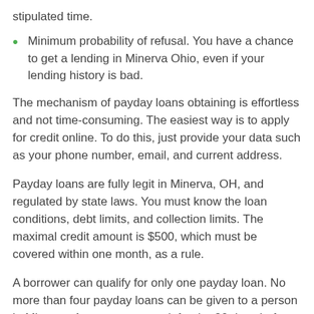stipulated time.
Minimum probability of refusal. You have a chance to get a lending in Minerva Ohio, even if your lending history is bad.
The mechanism of payday loans obtaining is effortless and not time-consuming. The easiest way is to apply for credit online. To do this, just provide your data such as your phone number, email, and current address.
Payday loans are fully legit in Minerva, OH, and regulated by state laws. You must know the loan conditions, debt limits, and collection limits. The maximal credit amount is $500, which must be covered within one month, as a rule.
A borrower can qualify for only one payday loan. No more than four payday loans can be given to a person in Minerva. A person must wait for the 90 days before he or she will be able to qualify for the second loan.